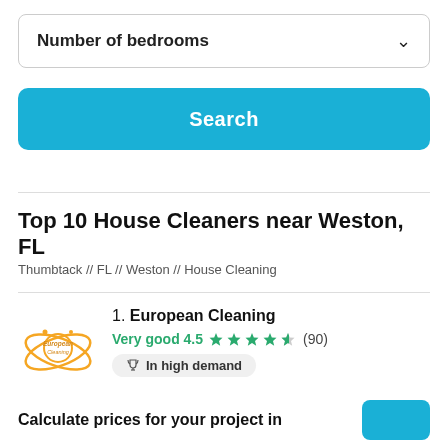Number of bedrooms ∨
Search
Top 10 House Cleaners near Weston, FL
Thumbtack // FL // Weston // House Cleaning
1. European Cleaning
Very good 4.5 ★★★★½ (90)
🏆 In high demand
Carol K. says, "I hired them for a deep cleaning in my ... See more"
Calculate prices for your project in